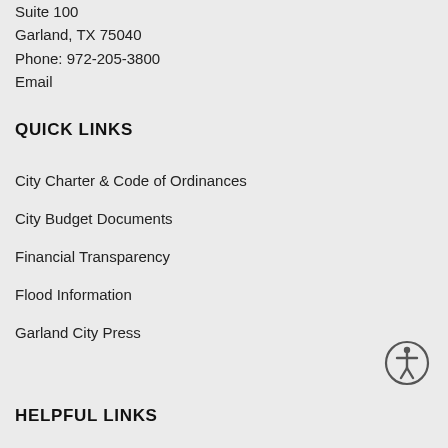Suite 100
Garland, TX 75040
Phone: 972-205-3800
Email
QUICK LINKS
City Charter & Code of Ordinances
City Budget Documents
Financial Transparency
Flood Information
Garland City Press
[Figure (illustration): Accessibility icon: circular icon with stylized human figure with arms outstretched]
HELPFUL LINKS